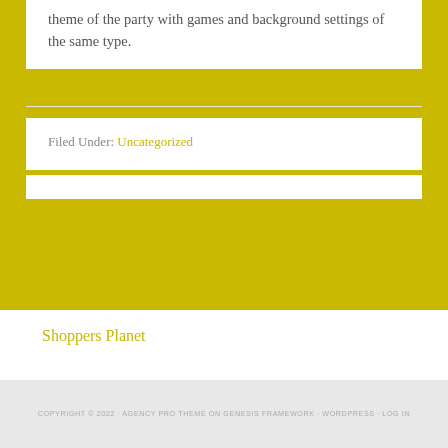theme of the party with games and background settings of the same type.
Filed Under: Uncategorized
Shoppers Planet
COPYRIGHT © 2022 · AGENCY PRO THEME ON GENESIS FRAMEWORK · WORDPRESS · LOG IN